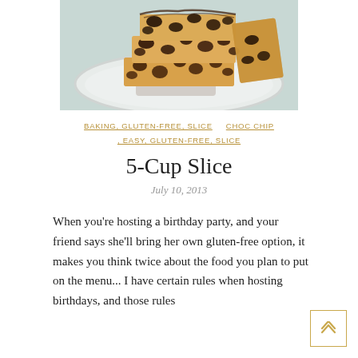[Figure (photo): Stack of chocolate chip bars/slices on a white plate, viewed from above at an angle.]
BAKING, GLUTEN-FREE, SLICE     CHOC CHIP
. EASY, GLUTEN-FREE, SLICE
5-Cup Slice
July 10, 2013
When you're hosting a birthday party, and your friend says she'll bring her own gluten-free option, it makes you think twice about the food you plan to put on the menu... I have certain rules when hosting birthdays, and those rules